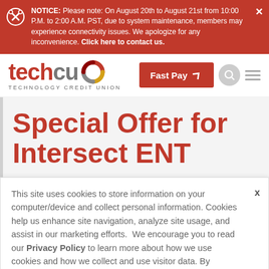NOTICE: Please note: On August 20th to August 21st from 10:00 P.M. to 2:00 A.M. PST, due to system maintenance, members may experience connectivity issues. We apologize for any inconvenience. Click here to contact us.
[Figure (logo): Tech CU — Technology Credit Union logo with stylized swirl icon in red, gold, and gray]
Special Offer for Intersect ENT
This site uses cookies to store information on your computer/device and collect personal information. Cookies help us enhance site navigation, analyze site usage, and assist in our marketing efforts. We encourage you to read our Privacy Policy to learn more about how we use cookies and how we collect and use visitor data. By continuing to use this site, you consent to the placement of these cookies.